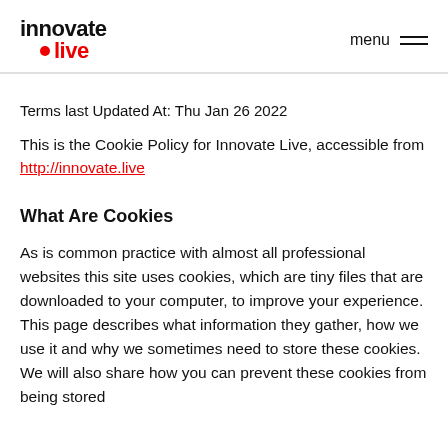innovate live  menu
Terms last Updated At: Thu Jan 26 2022
This is the Cookie Policy for Innovate Live, accessible from http://innovate.live
What Are Cookies
As is common practice with almost all professional websites this site uses cookies, which are tiny files that are downloaded to your computer, to improve your experience. This page describes what information they gather, how we use it and why we sometimes need to store these cookies. We will also share how you can prevent these cookies from being stored